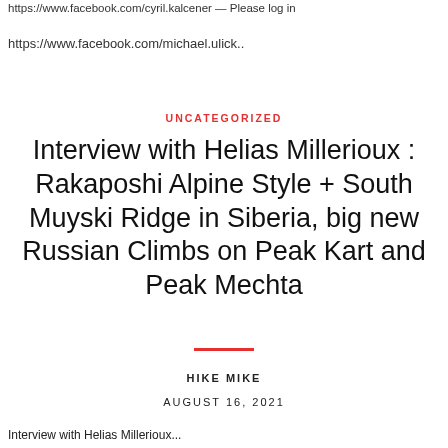https://www.facebook.com/cyril.kalcener — Please log in
https://www.facebook.com/michael.ulick..
UNCATEGORIZED
Interview with Helias Millerioux : Rakaposhi Alpine Style + South Muyski Ridge in Siberia, big new Russian Climbs on Peak Kart and Peak Mechta
HIKE MIKE
AUGUST 16, 2021
Interview with Helias Millerioux...